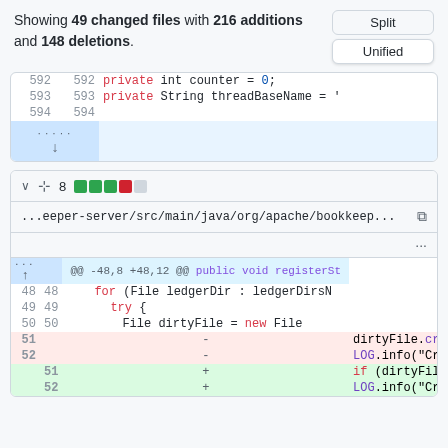Showing 49 changed files with 216 additions and 148 deletions.
[Figure (screenshot): GitHub code diff view showing two panels. Top panel shows lines 592-594 with private int counter = 0 and private String threadBaseName. Bottom panel shows file ...eeper-server/src/main/java/org/apache/bookkeep... with diff hunk @@ -48,8 +48,12 @@ public void registerSt, showing lines 48-52 including for loop, try block, File dirtyFile = new File, deleted lines for dirtyFile.createNewFile() and LOG.info, and added line for if (dirtyFile.createNewFi]